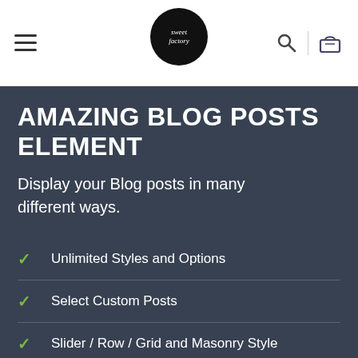Navigation bar with hamburger menu, logo, search and cart icons
AMAZING BLOG POSTS ELEMENT
Display your Blog posts in many different ways.
Unlimited Styles and Options
Select Custom Posts
Slider / Row / Grid and Masonry Style